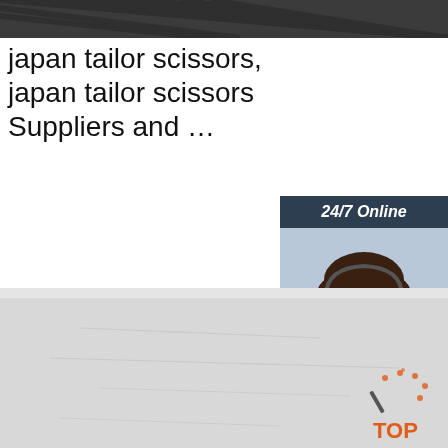[Figure (photo): Dark textured metal/mesh background image at the top of the page]
japan tailor scissors, japan tailor scissors Suppliers and ...
Japan Hot Seller Top High Grade Tailor s not cheap | but definitely worth it | 420 J2 steel | Precision | US $4.90-$6.19 Piece (Min. Order)
[Figure (screenshot): Sidebar widget with '24/7 Online' header, photo of a woman with headset smiling, 'Click here for free chat!' text, and orange QUOTATION button]
[Figure (photo): Bottom image showing a light gray surface, possibly fabric or paper, with a TOP logo watermark in the bottom right corner]